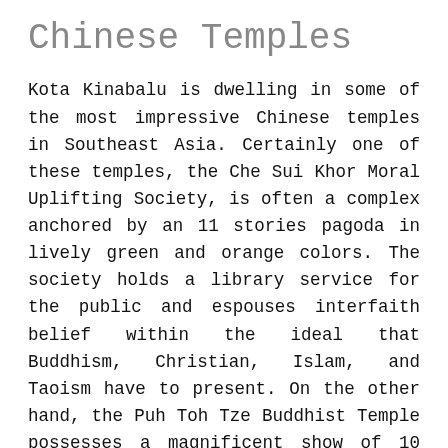Chinese Temples
Kota Kinabalu is dwelling in some of the most impressive Chinese temples in Southeast Asia. Certainly one of these temples, the Che Sui Khor Moral Uplifting Society, is often a complex anchored by an 11 stories pagoda in lively green and orange colors. The society holds a library service for the public and espouses interfaith belief within the ideal that Buddhism, Christian, Islam, and Taoism have to present. On the other hand, the Puh Toh Tze Buddhist Temple possesses a magnificent show of 10 Chinese deities along with a Chinese style reclining Buddha.
Lok Kawi Wildlife Park